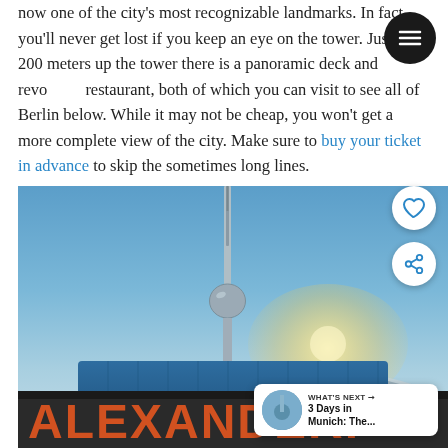now one of the city's most recognizable landmarks. In fact, you'll never get lost if you keep an eye on the tower. Just over 200 meters up the tower there is a panoramic deck and revolving restaurant, both of which you can visit to see all of Berlin below. While it may not be cheap, you won't get a more complete view of the city. Make sure to buy your ticket in advance to skip the sometimes long lines.
[Figure (photo): Photo of the Berlin TV Tower (Fernsehturm) rising above the Alexanderplatz train station, showing the large orange ALEXANDERP letters on the station facade, blue sky background with sunlight flare. Social media overlay buttons (heart/like, share) and a 'What's Next' card showing '3 Days in Munich: The...' are visible.]